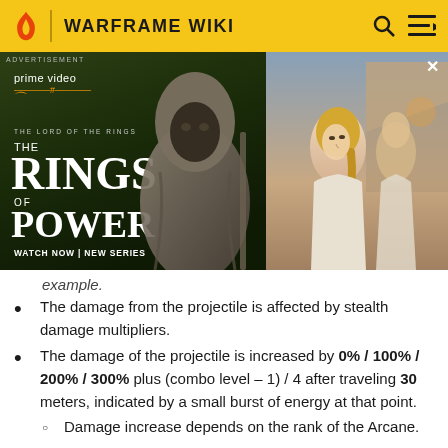WARFRAME WIKI
[Figure (photo): Advertisement for Amazon Prime Video's 'The Lord of the Rings: The Rings of Power' series, showing a hooded stone figure on the left and a blonde woman with others in white robes on the right. 'WATCH NOW | NEW SERIES' at the bottom.]
example.
The damage from the projectile is affected by stealth damage multipliers.
The damage of the projectile is increased by 0% / 100% / 200% / 300% plus (combo level – 1) / 4 after traveling 30 meters, indicated by a small burst of energy at that point.
Damage increase depends on the rank of the Arcane.